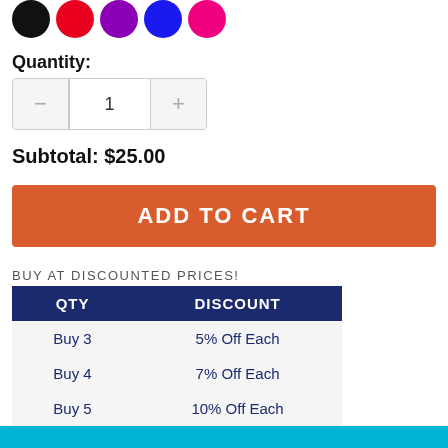[Figure (illustration): Five color swatch circles: black, red, purple, blue, pink]
Quantity:
[Figure (other): Quantity stepper control with minus button, value 1, and plus button]
Subtotal: $25.00
ADD TO CART
BUY AT DISCOUNTED PRICES!
| QTY | DISCOUNT |
| --- | --- |
| Buy 3 | 5% Off Each |
| Buy 4 | 7% Off Each |
| Buy 5 | 10% Off Each |